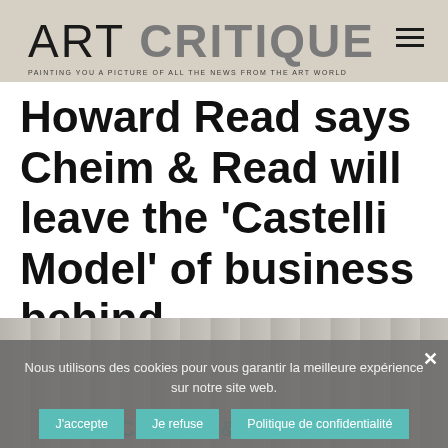ART CRITIQUE — PAINTING YOU A PICTURE OF ALL THE NEWS FROM THE ART WORLD
Howard Read says Cheim & Read will leave the 'Castelli Model' of business behind
[Figure (photo): Photo showing a concrete or stone wall surface, with CHEIM & READ text visible at the bottom in teal/turquoise letters]
Nous utilisons des cookies pour vous garantir la meilleure expérience sur notre site web.
J'accepte   Je refuse   Politique de confidentialité